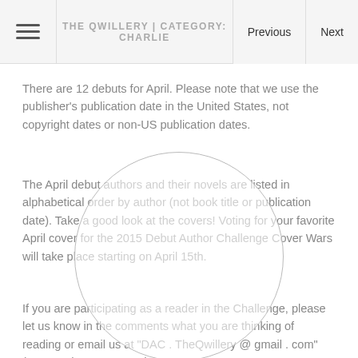THE QWILLERY | CATEGORY: CHARLIE
There are 12 debuts for April. Please note that we use the publisher's publication date in the United States, not copyright dates or non-US publication dates.
The April debut authors and their novels are listed in alphabetical order by author (not book title or publication date). Take a good look at the covers! Voting for your favorite April cover for the 2015 Debut Author Challenge Cover Wars will take place starting on April 15th.
If you are participating as a reader in the Challenge, please let us know in the comments what you are thinking of reading or email us at "DAC . TheQwillery @ gmail . com" (remove the spaces and